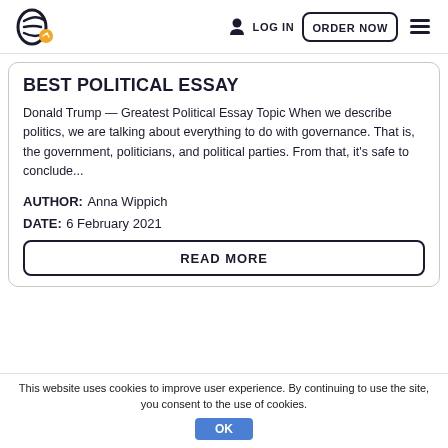LOG IN  ORDER NOW
BEST POLITICAL ESSAY
Donald Trump — Greatest Political Essay Topic When we describe politics, we are talking about everything to do with governance. That is, the government, politicians, and political parties. From that, it's safe to conclude...
AUTHOR: Anna Wippich
DATE: 6 February 2021
READ MORE
This website uses cookies to improve user experience. By continuing to use the site, you consent to the use of cookies.